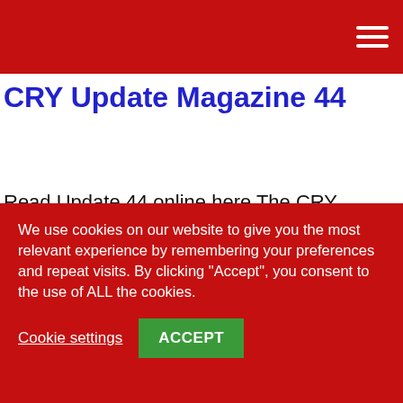CRY Update Magazine 44
Read Update 44 online here The CRY Update is the charity's newsletter, published three times a year, reporting on CRY news and events, cardiac screenings, breaking developments in medical research and CRY supporters' fundraising over the preceding months.
We use cookies on our website to give you the most relevant experience by remembering your preferences and repeat visits. By clicking “Accept”, you consent to the use of ALL the cookies.
Cookie settings  ACCEPT